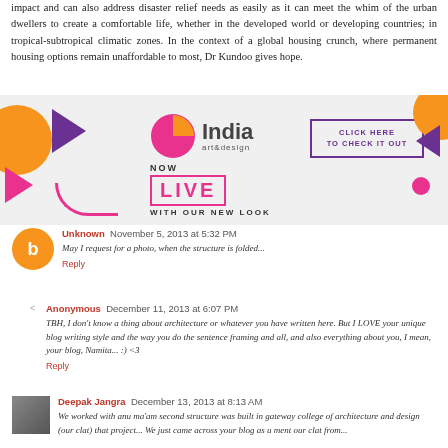impact and can also address disaster relief needs as easily as it can meet the whim of the urban dwellers to create a comfortable life, whether in the developed world or developing countries; in tropical-subtropical climatic zones. In the context of a global housing crunch, where permanent housing options remain unaffordable to most, Dr Kundoo gives hope.
[Figure (infographic): India art & design magazine advertisement banner with colorful geometric shapes (orange circles, pink and purple triangles, arcs), NOW LIVE WITH OUR NEW LOOK text, and CLICK HERE TO CHECK IT OUT button]
Unknown   November 5, 2013 at 5:32 PM
May I request for a photo, when the structure is folded...
Reply
Anonymous   December 11, 2013 at 6:07 PM
TBH, I don't know a thing about architecture or whatever you have written here. But I LOVE your unique blog writing style and the way you do the sentence framing and all, and also everything about you, I mean, your blog, Namita... :) <3
Reply
Deepak Jangra   December 13, 2013 at 8:13 AM
We worked with anu ma'am second structure was built in gateway college of architecture and design (our clat) that project... We just came across your blog as u ment our clat from...